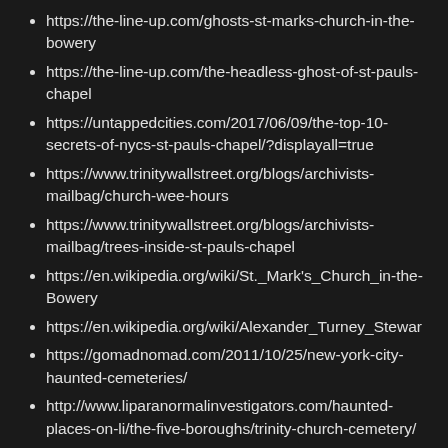https://the-line-up.com/ghosts-st-marks-church-in-the-bowery
https://the-line-up.com/the-headless-ghost-of-st-pauls-chapel
https://untappedcities.com/2017/06/09/the-top-10-secrets-of-nycs-st-pauls-chapel/?displayall=true
https://www.trinitywallstreet.org/blogs/archivists-mailbag/church-wee-hours
https://www.trinitywallstreet.org/blogs/archivists-mailbag/trees-inside-st-pauls-chapel
https://en.wikipedia.org/wiki/St._Mark's_Church_in-the-Bowery
https://en.wikipedia.org/wiki/Alexander_Turney_Stewart
https://gomadnomad.com/2011/10/25/new-york-city-haunted-cemeteries/
http://www.liparanormalinvestigators.com/haunted-places-on-li/the-five-boroughs/trinity-church-cemetery/